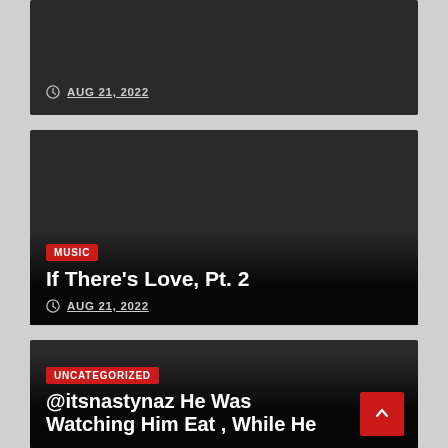AUG 21, 2022
[Figure (screenshot): Dark card with Music category badge, title 'If There's Love, Pt. 2', and date AUG 21, 2022]
[Figure (screenshot): Dark card with Uncategorized category badge and partial title '@itsnastynaz He Was Watching Him Eat , While He']